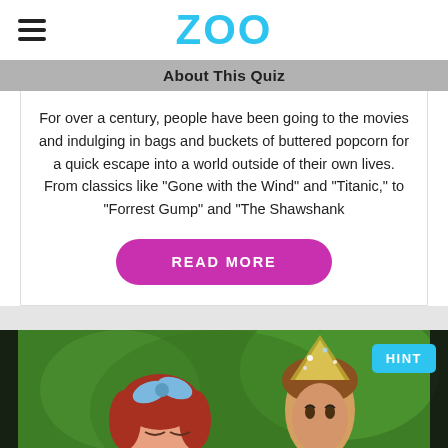ZOO
About This Quiz
For over a century, people have been going to the movies and indulging in bags and buckets of buttered popcorn for a quick escape into a world outside of their own lives. From classics like "Gone with the Wind" and "Titanic," to "Forrest Gump" and "The Shawshank
READ MORE
[Figure (photo): Movie still showing two characters from The Wizard of Oz in colorful costumes against a green background, with a HINT badge in the top right corner.]